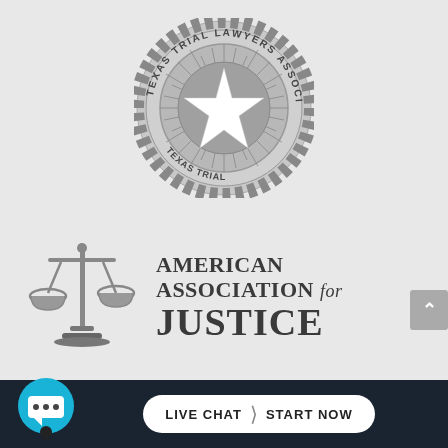[Figure (logo): Texas Trial Lawyers Association circular seal/logo with star and chain border, grayscale]
[Figure (logo): American Association for Justice logo with scales of justice icon and text 'AMERICAN ASSOCIATION for JUSTICE']
[Figure (other): Live Chat button with chat bubble icon: 'LIVE CHAT > START NOW' on dark bar at bottom]